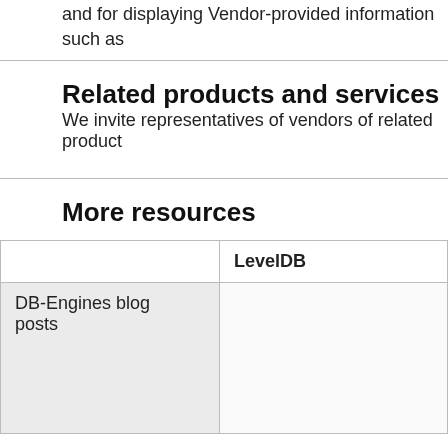and for displaying Vendor-provided information such as
Related products and services
We invite representatives of vendors of related product
More resources
|  | LevelDB |
| --- | --- |
| DB-Engines blog posts |  |